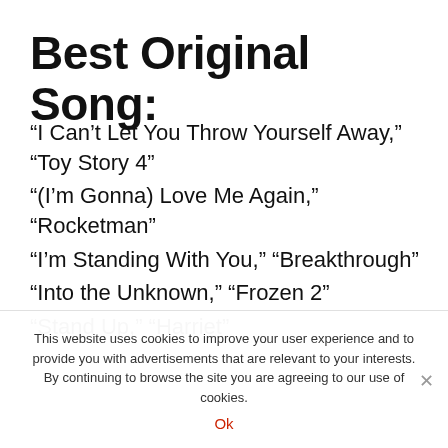Best Original Song:
“I Can’t Let You Throw Yourself Away,” “Toy Story 4”
“(I’m Gonna) Love Me Again,” “Rocketman”
“I’m Standing With You,” “Breakthrough”
“Into the Unknown,” “Frozen 2”
“Stand Up,” “Harriet”
This website uses cookies to improve your user experience and to provide you with advertisements that are relevant to your interests. By continuing to browse the site you are agreeing to our use of cookies.
Ok